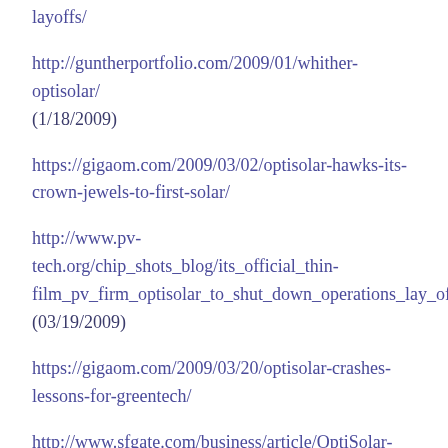layoffs/
http://guntherportfolio.com/2009/01/whither-optisolar/
(1/18/2009)
https://gigaom.com/2009/03/02/optisolar-hawks-its-crown-jewels-to-first-solar/
http://www.pv-tech.org/chip_shots_blog/its_official_thin-film_pv_firm_optisolar_to_shut_down_operations_lay_off_ma (03/19/2009)
https://gigaom.com/2009/03/20/optisolar-crashes-lessons-for-greentech/
http://www.sfgate.com/business/article/OptiSolar-halts-manufacturing-will-lay-off-200-3167637.php